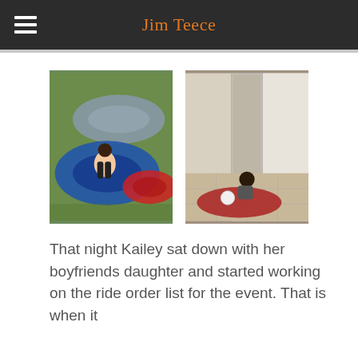Jim Teece
[Figure (photo): Left photo: A girl sitting in an inflatable tube/float on grass, with other inflatable tubes around her. Right photo: A child kneeling on a red rug on a tiled floor, looking at something.]
That night Kailey sat down with her boyfriends daughter and started working on the ride order list for the event. That is when it